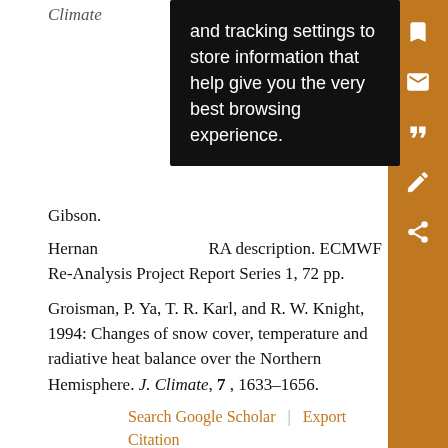Climate
and tracking settings to store information that help give you the very best browsing experience.
Gibson.
Hernandez ... ERA description. ECMWF Re-Analysis Project Report Series 1, 72 pp.
Groisman, P. Ya, T. R. Karl, and R. W. Knight, 1994: Changes of snow cover, temperature and radiative heat balance over the Northern Hemisphere. J. Climate, 7, 1633–1656.
Search Google Scholar | Export Citation
Hahn, D. J., and J. Shukla, 1976: An apparent relationship between Eurasian snow cover and Indian monsoon rainfall. J. Atmos. Sci., 33, 2461–2462.